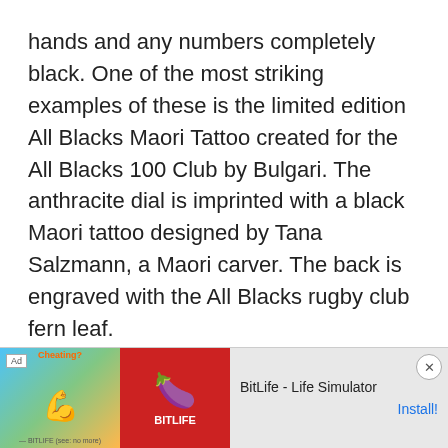hands and any numbers completely black. One of the most striking examples of these is the limited edition All Blacks Maori Tattoo created for the All Blacks 100 Club by Bulgari. The anthracite dial is imprinted with a black Maori tattoo designed by Tana Salzmann, a Maori carver. The back is engraved with the All Blacks rugby club fern leaf.
[Figure (infographic): Mobile advertisement banner for BitLife - Life Simulator app. Contains an 'Ad' badge, app icon imagery with a muscular arm emoji on colorful background, red panel with sperm icon and 'BITLIFE' text, app name 'BitLife - Life Simulator', and an 'Install!' call-to-action link. A close (X) button appears in the top right.]